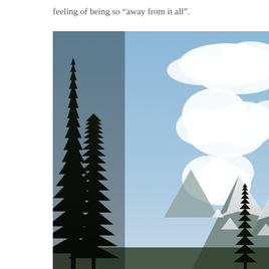feeling of being so “away from it all”.
[Figure (photo): Photograph of tall dark evergreen trees in the foreground on the left, with snow-capped mountain peaks in the background and a blue sky with white cumulus clouds above.]